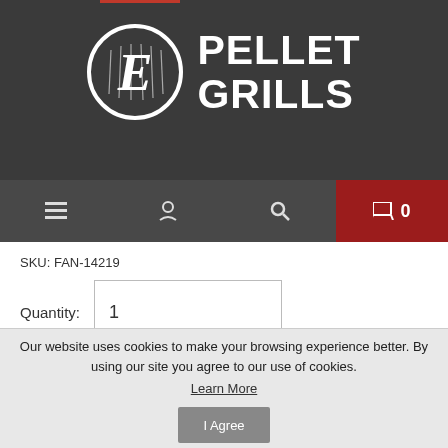[Figure (logo): E Pellet Grills logo on dark gray background with circular E emblem and bold white PELLET GRILLS text]
☰  👤  🔍  🛒 0
SKU: FAN-14219
Quantity: 1
🛒 ADD TO CART
Our website uses cookies to make your browsing experience better. By using our site you agree to our use of cookies. Learn More
I Agree